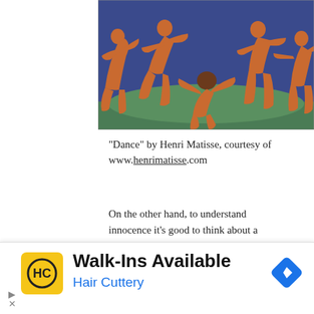[Figure (photo): Matisse's 'Dance' painting — five orange figures dancing in a circle against a blue and green background]
“Dance” by Henri Matisse, courtesy of www.henrimatisse.com
On the other hand, to understand innocence it’s good to think about a small child, one who enjoys playing for the sake of playing, feeling the
[Figure (screenshot): Walk-Ins Available advertisement for Hair Cuttery with yellow HC logo and blue navigation arrow icon]